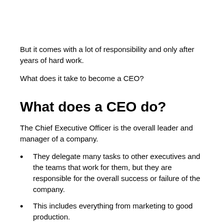But it comes with a lot of responsibility and only after years of hard work.
What does it take to become a CEO?
What does a CEO do?
The Chief Executive Officer is the overall leader and manager of a company.
They delegate many tasks to other executives and the teams that work for them, but they are responsible for the overall success or failure of the company.
This includes everything from marketing to good production.
They focus mostly on the business side of the company and have a hand in every decision that is made, whether directly or indirectly through the